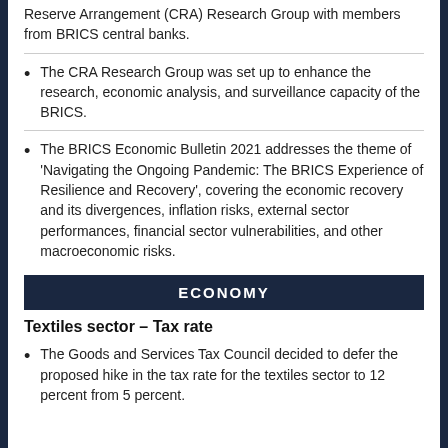Reserve Arrangement (CRA) Research Group with members from BRICS central banks.
The CRA Research Group was set up to enhance the research, economic analysis, and surveillance capacity of the BRICS.
The BRICS Economic Bulletin 2021 addresses the theme of ‘Navigating the Ongoing Pandemic: The BRICS Experience of Resilience and Recovery’, covering the economic recovery and its divergences, inflation risks, external sector performances, financial sector vulnerabilities, and other macroeconomic risks.
ECONOMY
Textiles sector – Tax rate
The Goods and Services Tax Council decided to defer the proposed hike in the tax rate for the textiles sector to 12 percent from 5 percent.